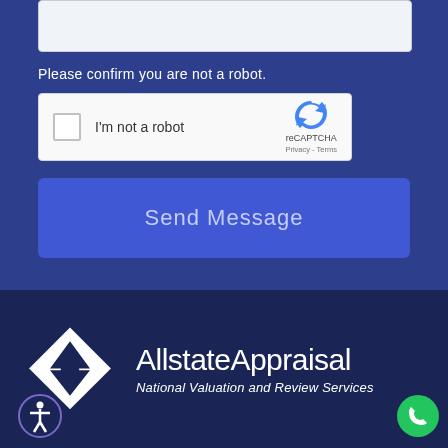[Figure (screenshot): Text input area box (partially visible at top)]
Please confirm you are not a robot.
[Figure (screenshot): reCAPTCHA widget with checkbox labeled 'I'm not a robot' and reCAPTCHA logo with Privacy - Terms links]
[Figure (screenshot): Send Message button in blue]
[Figure (logo): Allstate Appraisal logo with diamond shape icon and text 'AllstateAppraisal National Valuation and Review Services' on dark navy background]
[Figure (screenshot): Accessibility icon (person in circle) at bottom left]
[Figure (screenshot): Green phone call button at bottom right]